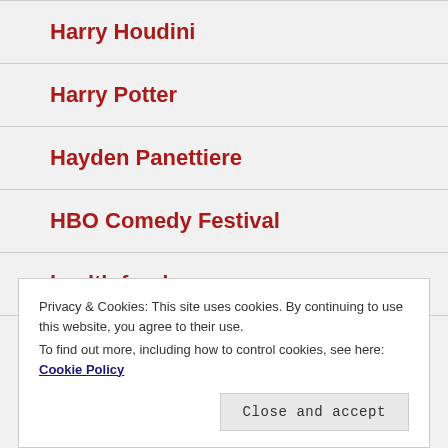Harry Houdini
Harry Potter
Hayden Panettiere
HBO Comedy Festival
health food
Privacy & Cookies: This site uses cookies. By continuing to use this website, you agree to their use. To find out more, including how to control cookies, see here: Cookie Policy
Close and accept